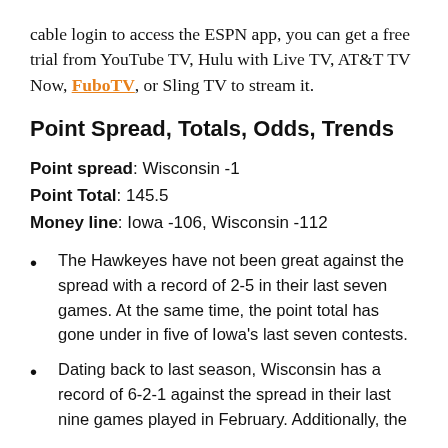cable login to access the ESPN app, you can get a free trial from YouTube TV, Hulu with Live TV, AT&T TV Now, FuboTV, or Sling TV to stream it.
Point Spread, Totals, Odds, Trends
Point spread: Wisconsin -1
Point Total: 145.5
Money line: Iowa -106, Wisconsin -112
The Hawkeyes have not been great against the spread with a record of 2-5 in their last seven games. At the same time, the point total has gone under in five of Iowa's last seven contests.
Dating back to last season, Wisconsin has a record of 6-2-1 against the spread in their last nine games played in February. Additionally, the